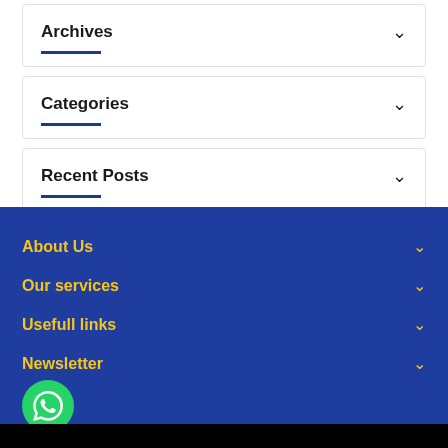Archives
Categories
Recent Posts
About Us
Our services
Usefull links
Newsletter